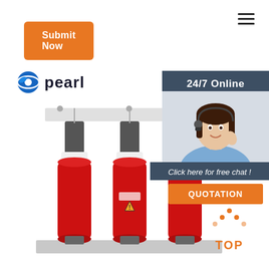Submit Now
[Figure (photo): Three-phase dry-type transformer with red coils and gray core structure mounted on a metal base frame.]
[Figure (logo): Pearl company logo with blue globe icon and text 'pearl']
24/7 Online
[Figure (photo): Customer service agent woman wearing headset and smiling]
Click here for free chat !
QUOTATION
[Figure (infographic): TOP navigation icon with orange dots forming a chevron/arrow shape above the word TOP in orange]